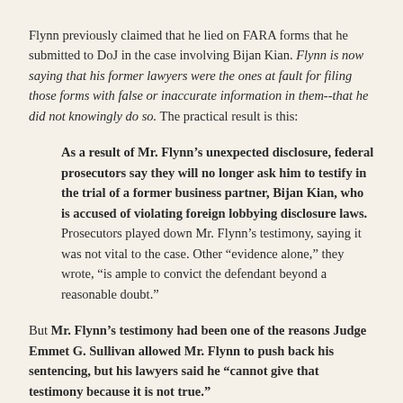Flynn previously claimed that he lied on FARA forms that he submitted to DoJ in the case involving Bijan Kian. Flynn is now saying that his former lawyers were the ones at fault for filing those forms with false or inaccurate information in them--that he did not knowingly do so. The practical result is this:
As a result of Mr. Flynn’s unexpected disclosure, federal prosecutors say they will no longer ask him to testify in the trial of a former business partner, Bijan Kian, who is accused of violating foreign lobbying disclosure laws. Prosecutors played down Mr. Flynn’s testimony, saying it was not vital to the case. Other “evidence alone,” they wrote, “is ample to convict the defendant beyond a reasonable doubt.”
But Mr. Flynn’s testimony had been one of the reasons Judge Emmet G. Sullivan allowed Mr. Flynn to push back his sentencing, but his lawyers said he “cannot give that testimony because it is not true.”